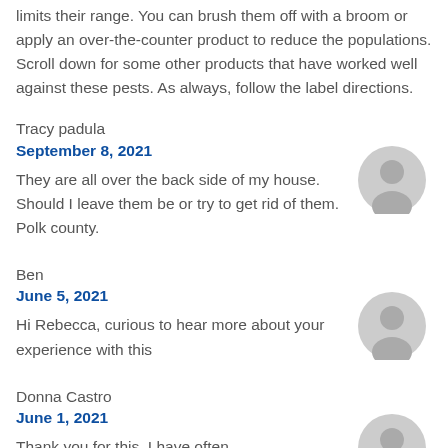limits their range. You can brush them off with a broom or apply an over-the-counter product to reduce the populations. Scroll down for some other products that have worked well against these pests. As always, follow the label directions.
Tracy padula
September 8, 2021
They are all over the back side of my house. Should I leave them be or try to get rid of them. Polk county.
Ben
June 5, 2021
Hi Rebecca, curious to hear more about your experience with this
Donna Castro
June 1, 2021
Thank you for this. I have often